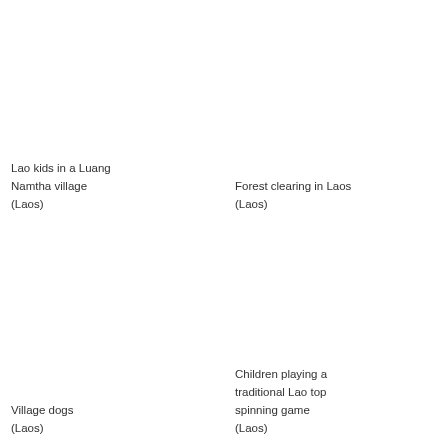Lao kids in a Luang Namtha village (Laos)
Forest clearing in Laos (Laos)
Village dogs (Laos)
Children playing a traditional Lao top spinning game (Laos)